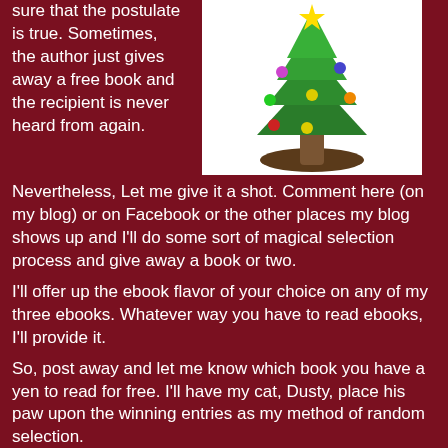sure that the postulate is true. Sometimes, the author just gives away a free book and the recipient is never heard from again.
[Figure (illustration): Cartoon Christmas tree with colorful ornaments on a brown stand, white background]
Nevertheless, Let me give it a shot. Comment here (on my blog) or on Facebook or the other places my blog shows up and I'll do some sort of magical selection process and give away a book or two.
I'll offer up the ebook flavor of your choice on any of my three ebooks. Whatever way you have to read ebooks, I'll provide it.
So, post away and let me know which book you have a yen to read for free. I'll have my cat, Dusty, place his paw upon the winning entries as my method of random selection.
Tales of a Texas Boy: Little Eddie tells some almost true Tall